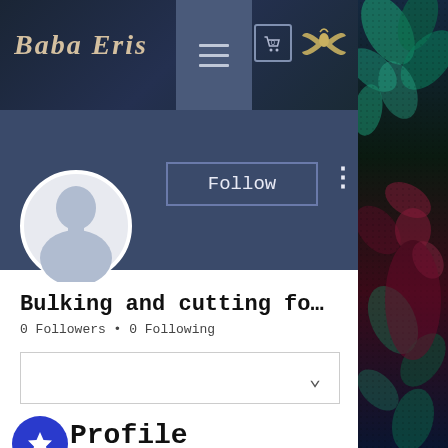[Figure (screenshot): Website navigation bar for 'Baba Eris' with decorative logo, hamburger menu, cart icon, and brand icon on a dark textured background]
[Figure (photo): Right side decorative panel with dark floral/tropical pattern in teal, red and dark tones]
[Figure (screenshot): User profile page section showing a blue header band with Follow button and three-dot menu, a circular default avatar, username 'Bulking and cutting fo...', follower stats, dropdown, and Profile section with star badge and join date]
Bulking and cutting fo…
0 Followers • 0 Following
Profile
Join date: Jun 18, 2022